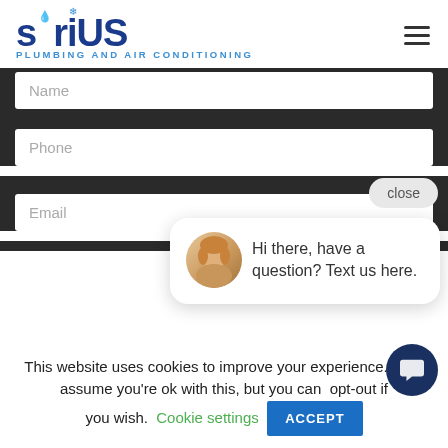[Figure (logo): Sirius Plumbing and Air Conditioning logo with blue text and water drop/snowflake icons]
Name
Phone
close
Email
[Figure (illustration): Chat popup with woman avatar and text: Hi there, have a question? Text us here.]
This website uses cookies to improve your experience. We'll assume you're ok with this, but you can opt-out if you wish.
Cookie settings
ACCEPT